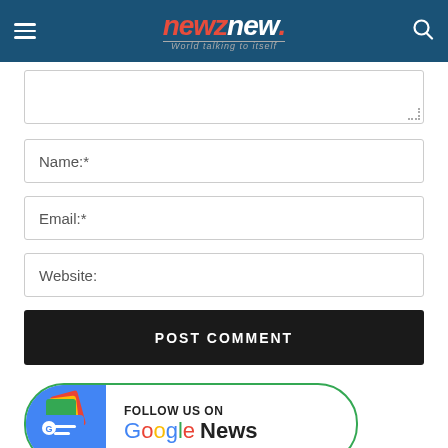newznew – World talking to itself
[Figure (screenshot): Text area input field (partially visible, cropped at top)]
Name:*
Email:*
Website:
POST COMMENT
[Figure (logo): Follow us on Google News badge with Google News icon and colorful paper stack graphic]